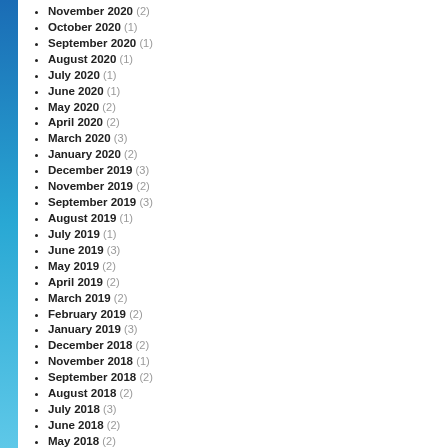November 2020 (2)
October 2020 (1)
September 2020 (1)
August 2020 (1)
July 2020 (1)
June 2020 (1)
May 2020 (2)
April 2020 (2)
March 2020 (3)
January 2020 (2)
December 2019 (3)
November 2019 (2)
September 2019 (3)
August 2019 (1)
July 2019 (1)
June 2019 (3)
May 2019 (2)
April 2019 (2)
March 2019 (2)
February 2019 (2)
January 2019 (3)
December 2018 (2)
November 2018 (1)
September 2018 (2)
August 2018 (2)
July 2018 (3)
June 2018 (2)
May 2018 (2)
April 2018 (1)
March 2018 (2)